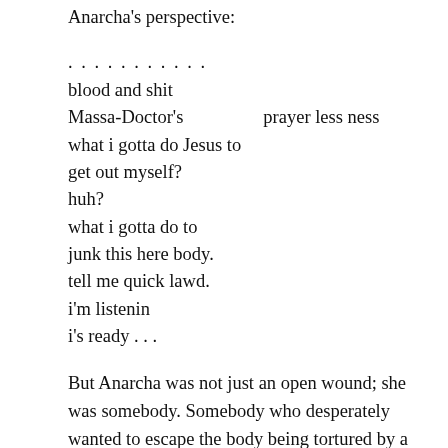Anarcha's perspective:
..........
blood and shit
Massa-Doctor's          prayer less ness
what i gotta do Jesus to
get out myself?
huh?
what i gotta do to
junk this here body.
tell me quick lawd.
i'm listenin
i's ready . . .
But Anarcha was not just an open wound; she was somebody. Somebody who desperately wanted to escape the body being tortured by a body whose